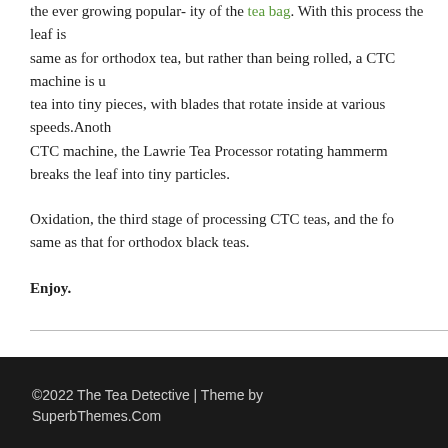the ever growing popular- ity of the tea bag. With this process the leaf is same as for orthodox tea, but rather than being rolled, a CTC machine is u tea into tiny pieces, with blades that rotate inside at various speeds.Anoth CTC machine, the Lawrie Tea Processor rotating hammerm breaks the leaf into tiny particles.
Oxidation, the third stage of processing CTC teas, and the fo same as that for orthodox black teas.
Enjoy.
©2022 The Tea Detective | Theme by SuperbThemes.Com